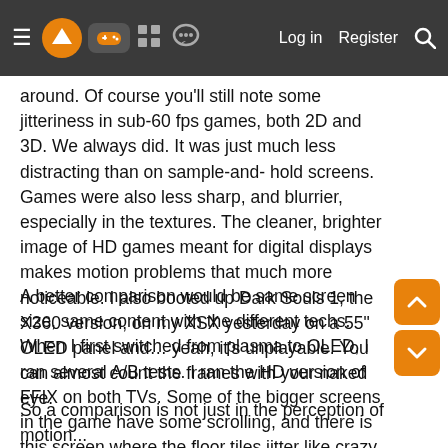≡ [logo] [gamepad icon] [grid icon] [chat icon]   Log in   Register   [search icon]
around. Of course you'll still note some jitteriness in sub-60 fps games, both 2D and 3D. We always did. It was just much less distracting than on sample-and- hold screens. Games were also less sharp, and blurrier, especially in the textures. The cleaner, brighter image of HD games meant for digital displays makes motion problems that much more noticeable. I also booted up Dark Souls 1, the X360 version, on my XSX yesterday on a 55" OLED panel and… yeah, it's unplayable. You can almost count the frames with your naked eye.
A better comparison would be same screen size, same content with the different techs.
When I first switched from plasma to OLED, I ran several A/B tests. I ran the HD version of FFIX on both TVs. Some of the bigger screens in the game have some scrolling, and there is this screen where the floor tiles jitter like crazy on OLED. And they STILL jitter on plasma, only it's less evident because of the different tech.
So a comparison is not just in the perception of motion...